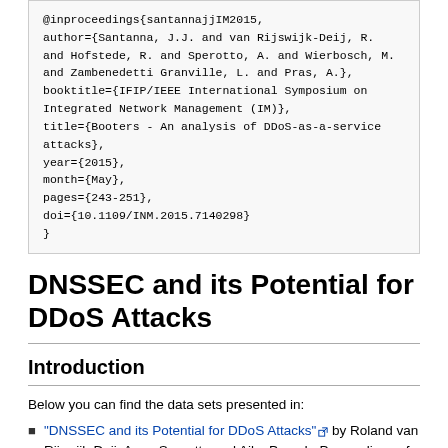@inproceedings{santannajjIM2015,
author={Santanna, J.J. and van Rijswijk-Deij, R.
and Hofstede, R. and Sperotto, A. and Wierbosch, M.
and Zambenedetti Granville, L. and Pras, A.},
booktitle={IFIP/IEEE International Symposium on
Integrated Network Management (IM)},
title={Booters - An analysis of DDoS-as-a-service
attacks},
year={2015},
month={May},
pages={243-251},
doi={10.1109/INM.2015.7140298}
}
DNSSEC and its Potential for DDoS Attacks
Introduction
Below you can find the data sets presented in:
"DNSSEC and its Potential for DDoS Attacks" by Roland van Rijswijk-Deij, Anna Sperotto and Aiko Pras. In Proceedings of the 14th ACM Internet Measurement Conference (ICM 2014), November 5-7 2014, Vancouver, BC, Canada.
A technical report describing the data sets and outlining the acceptable use